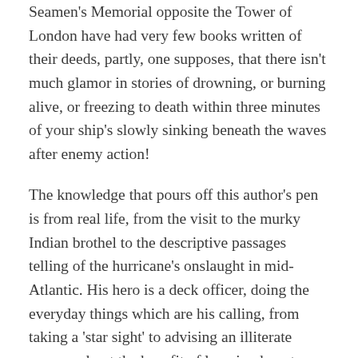Seamen's Memorial opposite the Tower of London have had very few books written of their deeds, partly, one supposes, that there isn't much glamor in stories of drowning, or burning alive, or freezing to death within three minutes of your ship's slowly sinking beneath the waves after enemy action!
The knowledge that pours off this author's pen is from real life, from the visit to the murky Indian brothel to the descriptive passages telling of the hurricane's onslaught in mid-Atlantic. His hero is a deck officer, doing the everyday things which are his calling, from taking a 'star sight' to advising an illiterate seaman about the benefit of learning how to read.  Fullerton has met men such as this young officer, and more than likely has killed very similar young men who sailed in the Japanese ships which his submarine sank in the shallow waters of Sumatra and Malaya! The many chapters to come will take us further in following this remarkable young officer's career.